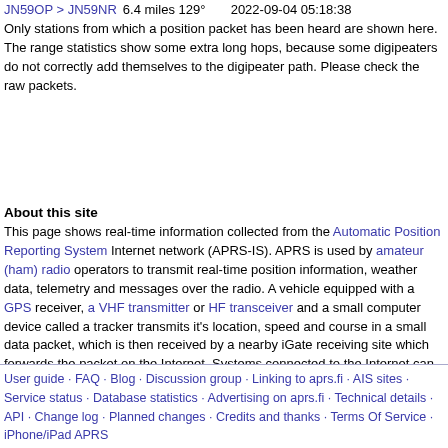JN59OP > JN59NR  6.4 miles 129°        2022-09-04 05:18:38
Only stations from which a position packet has been heard are shown here. The range statistics show some extra long hops, because some digipeaters do not correctly add themselves to the digipeater path. Please check the raw packets.
About this site
This page shows real-time information collected from the Automatic Position Reporting System Internet network (APRS-IS). APRS is used by amateur (ham) radio operators to transmit real-time position information, weather data, telemetry and messages over the radio. A vehicle equipped with a GPS receiver, a VHF transmitter or HF transceiver and a small computer device called a tracker transmits it's location, speed and course in a small data packet, which is then received by a nearby iGate receiving site which forwards the packet on the Internet. Systems connected to the Internet can send information on the APRS-IS without a radio transmitter, or collect and display information transmitted anywhere in the world.
User guide · FAQ · Blog · Discussion group · Linking to aprs.fi · AIS sites · Service status · Database statistics · Advertising on aprs.fi · Technical details · API · Change log · Planned changes · Credits and thanks · Terms Of Service · iPhone/iPad APRS